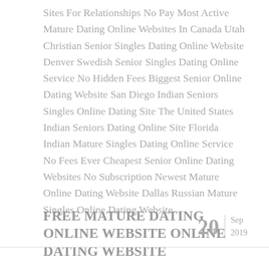Sites For Relationships No Pay Most Active Mature Dating Online Websites In Canada Utah Christian Senior Singles Dating Online Website Denver Swedish Senior Singles Dating Online Service No Hidden Fees Biggest Senior Online Dating Website San Diego Indian Seniors Singles Online Dating Site The United States Indian Seniors Dating Online Site Florida Indian Mature Singles Dating Online Service No Fees Ever Cheapest Senior Online Dating Websites No Subscription Newest Mature Online Dating Website Dallas Russian Mature Singles Online Dating Website
FREE MATURE DATING ONLINE WEBSITE ONLINE DATING WEBSITE
20 Sep 2019